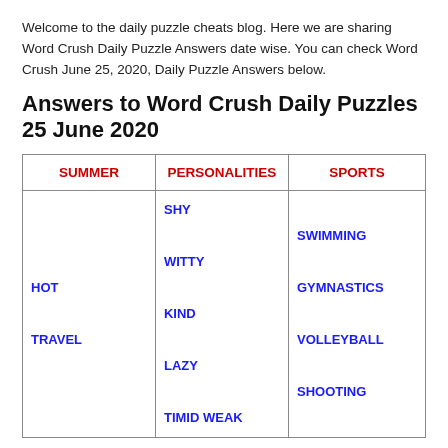Welcome to the daily puzzle cheats blog. Here we are sharing Word Crush Daily Puzzle Answers date wise. You can check Word Crush June 25, 2020, Daily Puzzle Answers below.
Answers to Word Crush Daily Puzzles 25 June 2020
| SUMMER | PERSONALITIES | SPORTS |
| --- | --- | --- |
| HOT

TRAVEL | SHY

WITTY

KIND

LAZY

TIMID WEAK | SWIMMING

GYMNASTICS

VOLLEYBALL

SHOOTING |